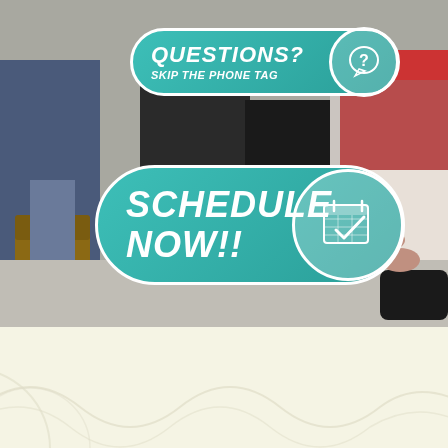[Figure (photo): Photo of several people sitting on the floor, partially visible from waist down. Overlaid are two teal pill-shaped buttons: one reading 'Questions? Skip the phone tag' with a speech bubble question mark icon, and one reading 'Schedule Now!!' with a calendar/checkmark icon. Below the photo is a cream-colored section with decorative wave lines.]